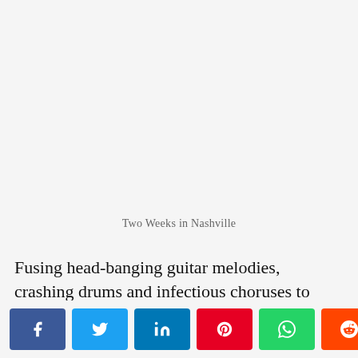Two Weeks in Nashville
Fusing head-banging guitar melodies, crashing drums and infectious choruses to make you sway, Two Weeks in Nashville demonstrate they've got a firm grip on what's required for a